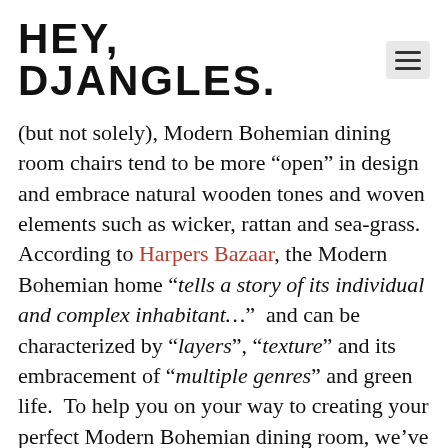HEY, DJANGLES.
(but not solely), Modern Bohemian dining room chairs tend to be more “open” in design and embrace natural wooden tones and woven elements such as wicker, rattan and sea-grass. According to Harpers Bazaar, the Modern Bohemian home “tells a story of its individual and complex inhabitant…” and can be characterized by “layers”, “texture” and its embracement of “multiple genres” and green life. To help you on your way to creating your perfect Modern Bohemian dining room, we’ve rounded up a selection of 12 gorgeous, individual and unique modern Bohemian dining room chairs to inspire and